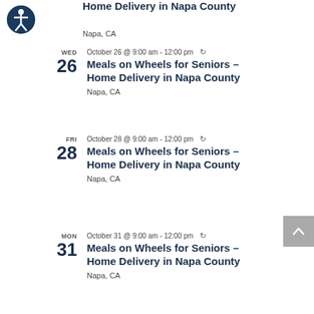[Figure (illustration): Accessibility icon: white stick figure in circle on dark blue background]
Home Delivery in Napa County
Napa, CA
October 26 @ 9:00 am - 12:00 pm (recurring)
Meals on Wheels for Seniors – Home Delivery in Napa County
Napa, CA
October 28 @ 9:00 am - 12:00 pm (recurring)
Meals on Wheels for Seniors – Home Delivery in Napa County
Napa, CA
October 31 @ 9:00 am - 12:00 pm (recurring)
Meals on Wheels for Seniors – Home Delivery in Napa County
Napa, CA